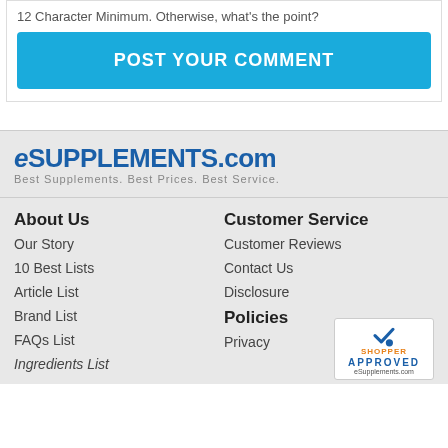12 Character Minimum. Otherwise, what's the point?
POST YOUR COMMENT
[Figure (logo): eSUPPLEMENTS.com logo with tagline: Best Supplements. Best Prices. Best Service.]
About Us
Our Story
10 Best Lists
Article List
Brand List
FAQs List
Ingredients List
Customer Service
Customer Reviews
Contact Us
Disclosure
Policies
Privacy
[Figure (logo): Shopper Approved badge for eSupplements.com]